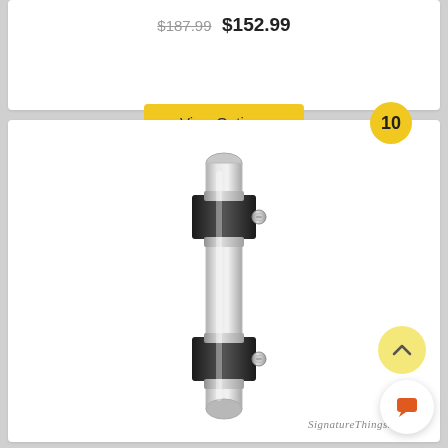$187.99  $152.99
View Options
10
[Figure (photo): A vertical glass/chrome door handle or tube-style handle with two black square hardware mounts and small chrome grub screws, shown against a white background. The handle has a clear cylindrical glass tube body with polished chrome end fittings.]
SignatureThings